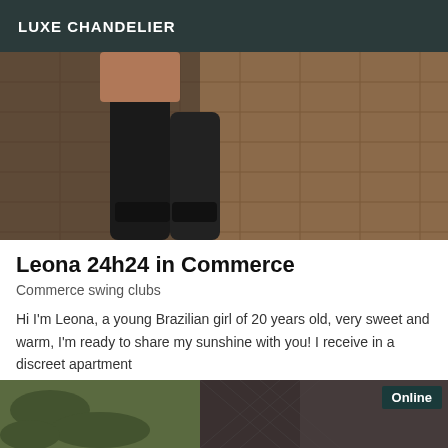LUXE CHANDELIER
[Figure (photo): Photo showing black high-heeled boots on a tiled floor]
Leona 24h24 in Commerce
Commerce swing clubs
Hi I'm Leona, a young Brazilian girl of 20 years old, very sweet and warm, I'm ready to share my sunshine with you! I receive in a discreet apartment
[Figure (photo): Photo collage showing outdoor foliage and a person in a black fishnet outfit, with an 'Online' badge]